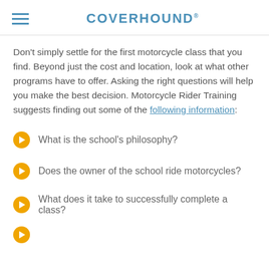COVERHOUND®
Don't simply settle for the first motorcycle class that you find. Beyond just the cost and location, look at what other programs have to offer. Asking the right questions will help you make the best decision. Motorcycle Rider Training suggests finding out some of the following information:
What is the school's philosophy?
Does the owner of the school ride motorcycles?
What does it take to successfully complete a class?
...